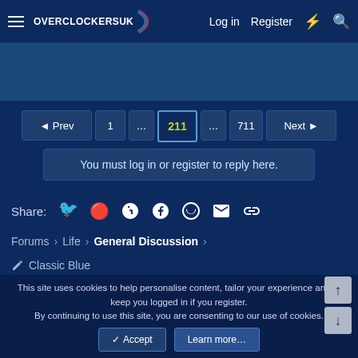Overclockers UK — Log in | Register
[Figure (screenshot): Blue banner/advertisement area]
◄ Prev  1  ...  211  ...  711  Next ►
You must log in or register to reply here.
Share: (reddit) (pinterest) (tumblr) (whatsapp) (email) (link)
Forums › Life › General Discussion ›
✎ Classic Blue
↑ Top  Contact us  Terms and rules  Privacy policy  Help  Home
This site uses cookies to help personalise content, tailor your experience and to keep you logged in if you register. By continuing to use this site, you are consenting to our use of cookies.
✓ Accept  Learn more...